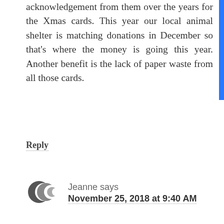acknowledgement from them over the years for the Xmas cards. This year our local animal shelter is matching donations in December so that's where the money is going this year. Another benefit is the lack of paper waste from all those cards.
Reply
Jeanne says
November 25, 2018 at 9:40 AM
Receiving a thank you for no card / donation tells so much! Keep sharing your experience and others might join you!
Reply